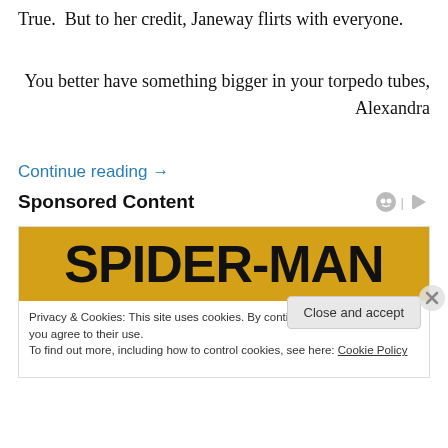True.  But to her credit, Janeway flirts with everyone.
You better have something bigger in your torpedo tubes, Alexandra
Continue reading →
Sponsored Content
[Figure (illustration): Spider-Man advertisement banner with yellow background and bold black text reading SPIDER-MAN]
Privacy & Cookies: This site uses cookies. By continuing to use this website, you agree to their use.
To find out more, including how to control cookies, see here: Cookie Policy
Close and accept